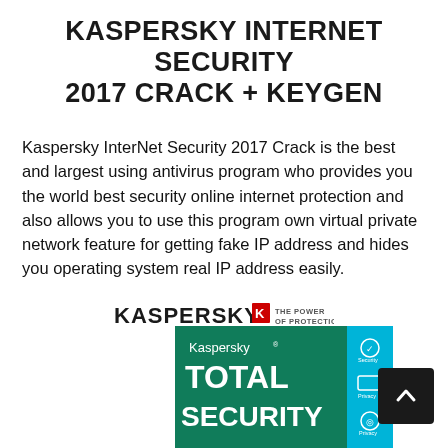KASPERSKY INTERNET SECURITY 2017 CRACK + KEYGEN
Kaspersky InterNet Security 2017 Crack is the best and largest using antivirus program who provides you the world best security online internet protection and also allows you to use this program own virtual private network feature for getting fake IP address and hides you operating system real IP address easily.
[Figure (logo): Kaspersky logo with red 'K' emblem and tagline THE POWER OF PROTECTION]
[Figure (screenshot): Kaspersky Total Security product box art showing green and cyan colored packaging with Kaspersky registered trademark, TOTAL SECURITY text, and security feature icons on the right side]